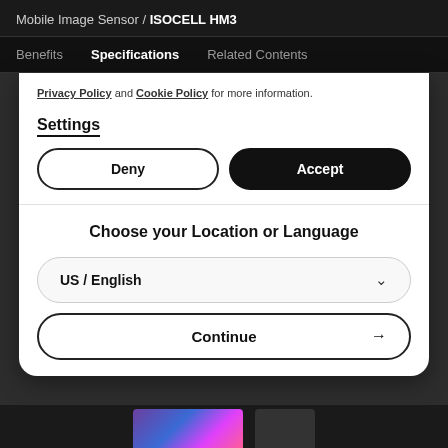Mobile Image Sensor / ISOCELL HM3
Benefits   Specifications   Related Contents
Privacy Policy and Cookie Policy for more information.
Settings
Deny
Accept
Choose your Location or Language
US / English
Continue